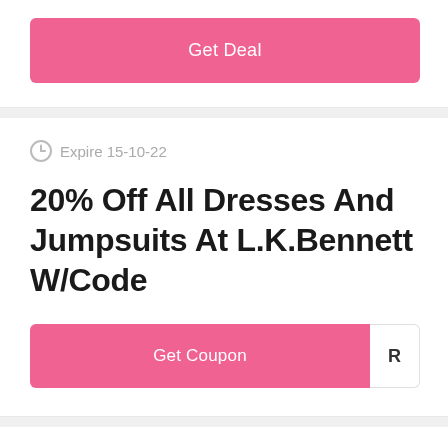[Figure (other): Pink 'Get Deal' button]
Expire 15-10-22
20% Off All Dresses And Jumpsuits At L.K.Bennett W/Code
[Figure (other): Pink 'Get Coupon' button with code reveal box showing letter R]
Expire 18-11-22